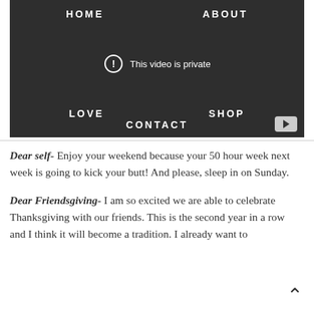[Figure (screenshot): Dark video player UI showing navigation links HOME, ABOUT, LOVE, SHOP, CONTACT with a 'This video is private' error message and a YouTube play button]
Dear self- Enjoy your weekend because your 50 hour week next week is going to kick your butt! And please, sleep in on Sunday.
Dear Friendsgiving- I am so excited we are able to celebrate Thanksgiving with our friends. This is the second year in a row and I think it will become a tradition. I already want to...